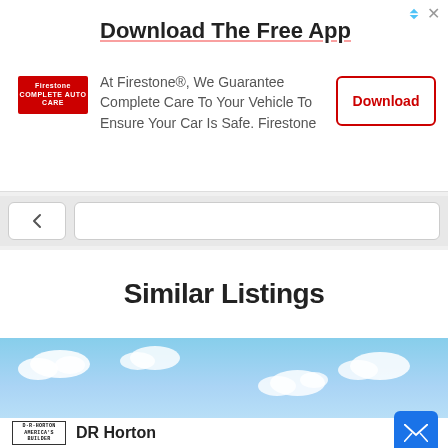[Figure (screenshot): Firestone advertisement banner with logo, 'Download The Free App' title, body text, and a Download button]
Download The Free App
At Firestone®, We Guarantee Complete Care To Your Vehicle To Ensure Your Car Is Safe. Firestone
Similar Listings
[Figure (photo): Blue sky with white clouds — placeholder listing image]
DR Horton